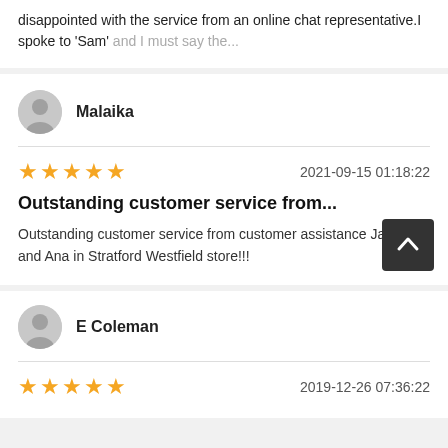disappointed with the service from an online chat representative.I spoke to 'Sam' and I must say the...
Malaika
★★★★★  2021-09-15 01:18:22
Outstanding customer service from...
Outstanding customer service from customer assistance Jamima and Ana in Stratford Westfield store!!!
E Coleman
★★★★★  2019-12-26 07:36:22